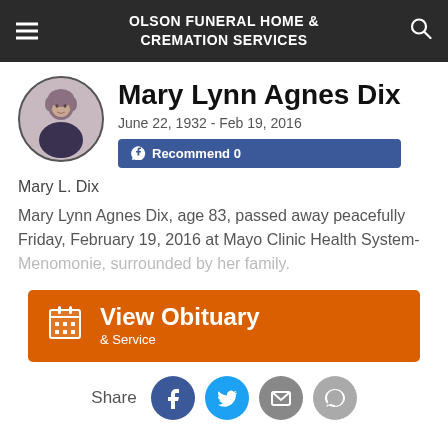OLSON FUNERAL HOME & CREMATION SERVICES
Mary Lynn Agnes Dix
June 22, 1932 - Feb 19, 2016
Recommend 0
Mary L. Dix
Mary Lynn Agnes Dix, age 83, passed away peacefully Friday, February 19, 2016 at Mayo Clinic Health System-Menomonie, surrounded by her family.
View Obituary & Service
Share